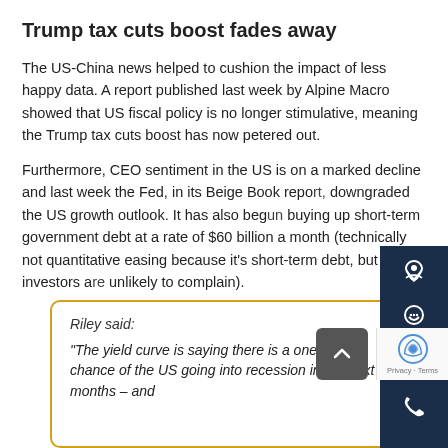Trump tax cuts boost fades away
The US-China news helped to cushion the impact of less happy data. A report published last week by Alpine Macro showed that US fiscal policy is no longer stimulative, meaning the Trump tax cuts boost has now petered out.
Furthermore, CEO sentiment in the US is on a marked decline and last week the Fed, in its Beige Book report, downgraded the US growth outlook. It has also begun buying up short-term government debt at a rate of $60 billion a month (technically not quantitative easing because it's short-term debt, but investors are unlikely to complain).
Riley said:

"The yield curve is saying there is a one in three chance of the US going into recession in the next 12 months – and